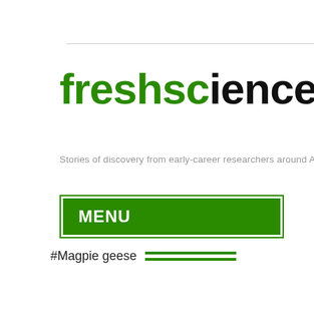[Figure (logo): Fresh Science logo with green 'fresh' text and black 'science' text, with a lightbulb replacing the letter 'o']
Stories of discovery from early-career researchers around Australia
MENU
#Magpie geese